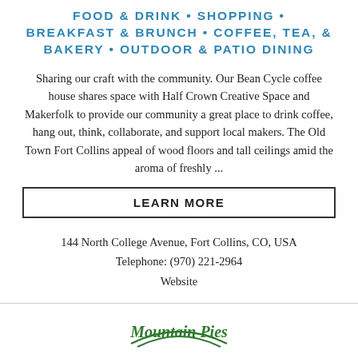FOOD & DRINK • SHOPPING • BREAKFAST & BRUNCH • COFFEE, TEA, & BAKERY • OUTDOOR & PATIO DINING
Sharing our craft with the community. Our Bean Cycle coffee house shares space with Half Crown Creative Space and Makerfolk to provide our community a great place to drink coffee, hang out, think, collaborate, and support local makers. The Old Town Fort Collins appeal of wood floors and tall ceilings amid the aroma of freshly ...
LEARN MORE
144 North College Avenue, Fort Collins, CO, USA
Telephone: (970) 221-2964
Website
[Figure (logo): Mountain Pies logo at bottom of page]